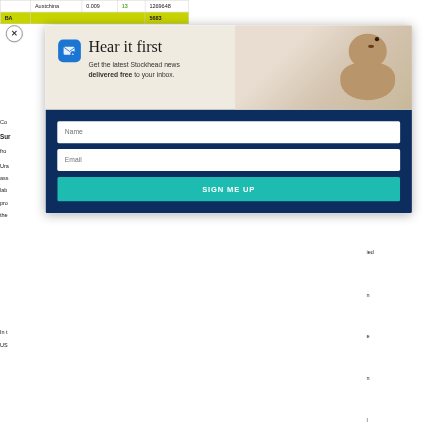|  | Austchina | 0.009 | 13 | 1269648 |
| --- | --- | --- | --- | --- |
| BA |  |  |  | 5683 |
Su
fro
Ura
ass
lab
pro
the
In t
US
[Figure (screenshot): Email newsletter signup modal overlay on top of a financial data page. Modal has top section with beige background showing a groundhog/prairie dog animal photo, an email icon (blue rounded square), headline 'Hear it first', subtext 'Get the latest Stockhead news delivered free to your inbox.' Bottom section has dark navy blue background with Name input field, Email input field, and teal 'SIGN ME UP' button. A close (X) button is visible at top left of the modal.]
Hear it first
Get the latest Stockhead news delivered free to your inbox.